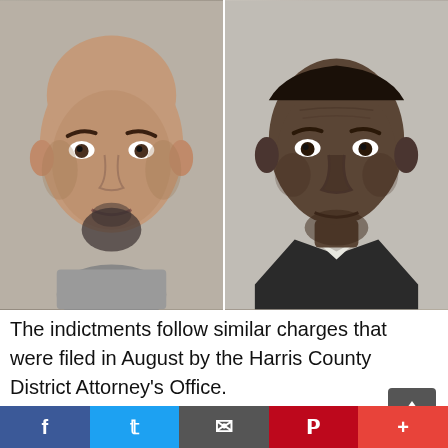[Figure (photo): Two mugshot-style photographs side by side: on the left, a bald Hispanic man with a goatee wearing a grey shirt; on the right, an older Black man wearing a dark suit jacket with a white shirt.]
The indictments follow similar charges that were filed in August by the Harris County District Attorney's Office.